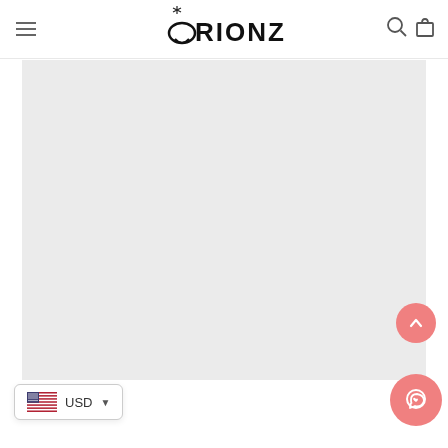[Figure (logo): Orionz brand logo with ring icon and sparkle, centered in header]
[Figure (photo): Large light gray/beige product image area, mostly blank/loading]
USD
[Figure (other): Scroll-to-top button (pink circle with up chevron) and WhatsApp button (pink circle with phone/chat icon)]